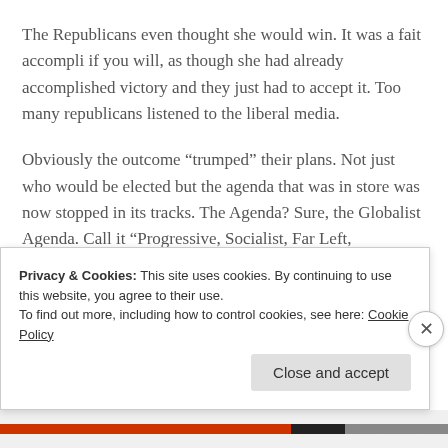The Republicans even thought she would win. It was a fait accompli if you will, as though she had already accomplished victory and they just had to accept it. Too many republicans listened to the liberal media.
Obviously the outcome “trumped” their plans. Not just who would be elected but the agenda that was in store was now stopped in its tracks. The Agenda? Sure, the Globalist Agenda. Call it “Progressive, Socialist, Far Left, Democratic” it is the same thing…. It is Globalism.
So we all know someone in this world theater that hates
Privacy & Cookies: This site uses cookies. By continuing to use this website, you agree to their use.
To find out more, including how to control cookies, see here: Cookie Policy